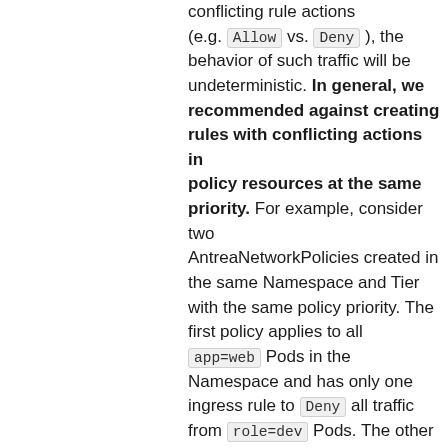conflicting rule actions (e.g. Allow vs. Deny ), the behavior of such traffic will be undeterministic. In general, we recommended against creating rules with conflicting actions in policy resources at the same priority. For example, consider two AntreaNetworkPolicies created in the same Namespace and Tier with the same policy priority. The first policy applies to all app=web Pods in the Namespace and has only one ingress rule to Deny all traffic from role=dev Pods. The other policy also applies to all